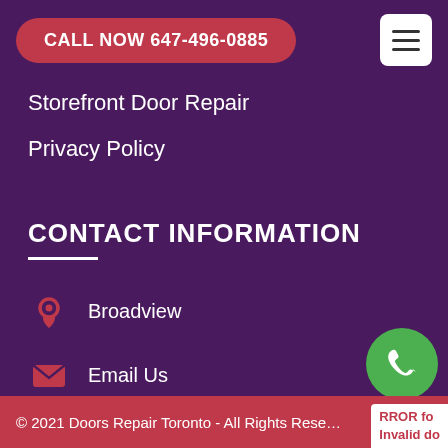CALL NOW 647-496-0885
Storefront Door Repair
Privacy Policy
CONTACT INFORMATION
Broadview
Email Us
647-496-0885
© 2021 Doors Repair Toronto - All Rights Rese... ERROR for missng domain: Invalid do...